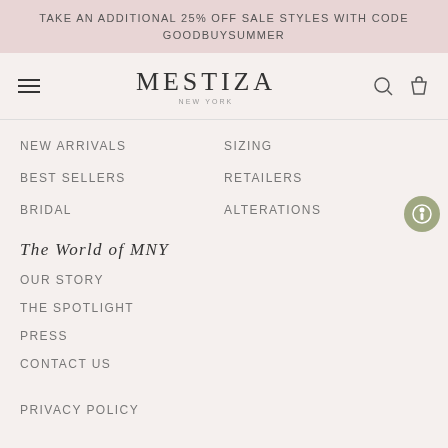TAKE AN ADDITIONAL 25% OFF SALE STYLES WITH CODE GOODBUYSUMMER
[Figure (logo): Mestiza New York logo with hamburger menu, search icon, and cart icon]
NEW ARRIVALS
SIZING
BEST SELLERS
RETAILERS
BRIDAL
ALTERATIONS
THE WORLD OF MNY
OUR STORY
THE SPOTLIGHT
PRESS
CONTACT US
PRIVACY POLICY